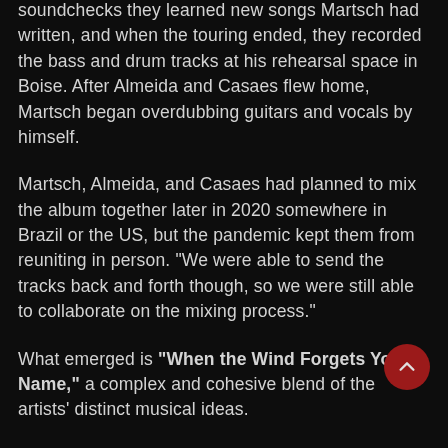soundchecks they learned new songs Martsch had written, and when the touring ended, they recorded the bass and drum tracks at his rehearsal space in Boise. After Almeida and Casaes flew home, Martsch began overdubbing guitars and vocals by himself.
Martsch, Almeida, and Casaes had planned to mix the album together later in 2020 somewhere in Brazil or the US, but the pandemic kept them from reuniting in person. "We were able to send the tracks back and forth though, so we were still able to collaborate on the mixing process."
What emerged is "When the Wind Forgets Your Name," a complex and cohesive blend of the artists' distinct musical ideas.